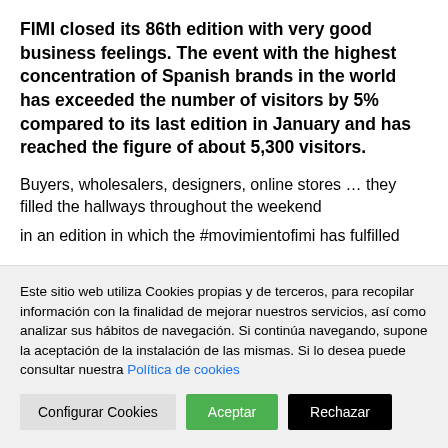FIMI closed its 86th edition with very good business feelings. The event with the highest concentration of Spanish brands in the world has exceeded the number of visitors by 5% compared to its last edition in January and has reached the figure of about 5,300 visitors.
Buyers, wholesalers, designers, online stores … they filled the hallways throughout the weekend
in an edition in which the #movimientofimi has fulfilled
Este sitio web utiliza Cookies propias y de terceros, para recopilar información con la finalidad de mejorar nuestros servicios, así como analizar sus hábitos de navegación. Si continúa navegando, supone la aceptación de la instalación de las mismas. Si lo desea puede consultar nuestra Política de cookies
Configurar Cookies | Aceptar | Rechazar